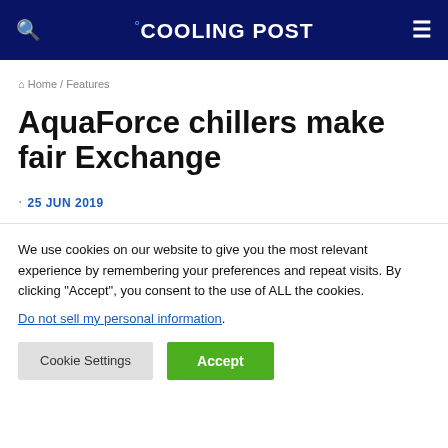COOLING POST
Home / Features
AquaForce chillers make fair Exchange
25 JUN 2019
We use cookies on our website to give you the most relevant experience by remembering your preferences and repeat visits. By clicking “Accept”, you consent to the use of ALL the cookies. Do not sell my personal information.